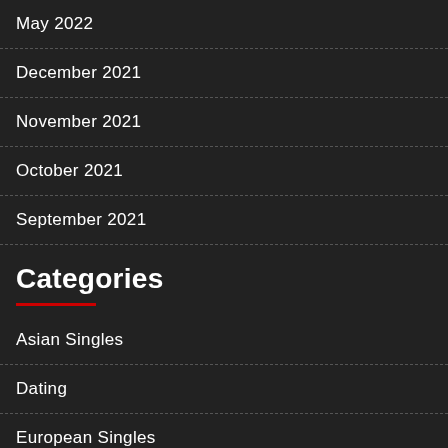May 2022
December 2021
November 2021
October 2021
September 2021
Categories
Asian Singles
Dating
European Singles